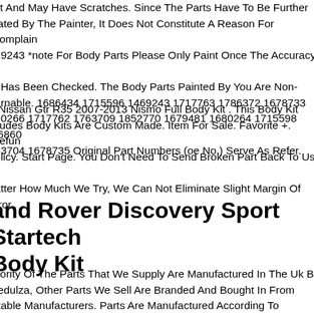int And May Have Scratches. Since The Parts Have To Be Further Treated By The Painter, It Does Not Constitute A Reason For Complaint. 69243 *note For Body Parts Please Only Paint Once The Accuracy Of It Has Been Checked. The Body Parts Painted By You Are Non-turnable. 1686434 1715596 1469243 1717763 1786372 1678733 80266 1717762 1763709 1852770 1679481 1680264 1715598 168600 63704 1678735 Original Part Numbers (oe No.) Serve As Refer.
r Nissan Gtr R35 2007-2013 Nismo Full Body Kit . This Body Kit cludes Body Kits Are Custom Made. Item For Sale. Favorite +. Refund olicy. Start Page. You Don't Need To Send Broken Part Back To Us. No matter How Much We Try, We Can Not Eliminate Slight Margin Of rror.
and Rover Discovery Sport Startech Body Kit
ajority Of The Parts That We Supply Are Manufactured In The Uk By eduza, Other Parts We Sell Are Branded And Bought In From utable Manufacturers. Parts Are Manufactured According To Specified...